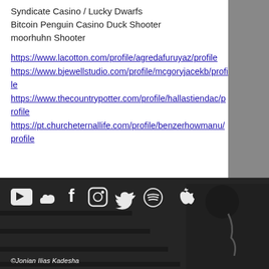Syndicate Casino / Lucky Dwarfs Bitcoin Penguin Casino Duck Shooter moorhuhn Shooter
https://www.lacotton.com/profile/agredafuruyaz/profile https://www.bjewellstudio.com/profile/mcgoryjacekb/profile https://www.thecountrypotter.com/profile/hallastiendac/profile https://pt.churcheternallife.com/profile/benzerhowmanu/profile
[Figure (photo): Dark background photo of a person sitting on stairs playing violin, with social media icons (YouTube, SoundCloud, Facebook, Instagram, Twitter, Spotify, Apple) overlaid at the top. Copyright text: ©Jonian Ilias Kadesha at the bottom left.]